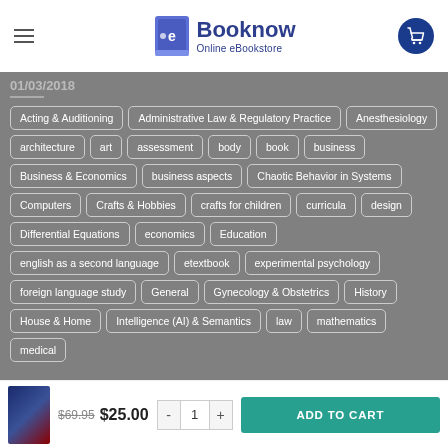e Booknow Online eBookstore
Acting & Auditioning, Administrative Law & Regulatory Practice, Anesthesiology, architecture, art, assessment, body, book, business, Business & Economics, business aspects, Chaotic Behavior in Systems, Computers, Crafts & Hobbies, crafts for children, curricula, design, Differential Equations, economics, Education, english as a second language, etextbook, experimental psychology, foreign language study, General, Gynecology & Obstetrics, History, House & Home, Intelligence (AI) & Semantics, law, mathematics, medical
$69.95  $25.00  -  1  +  ADD TO CART